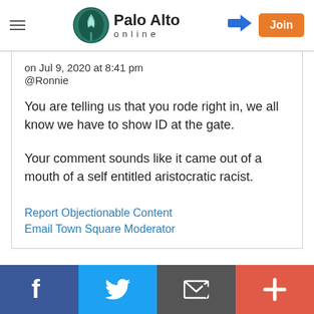Palo Alto online
on Jul 9, 2020 at 8:41 pm
@Ronnie
You are telling us that you rode right in, we all know we have to show ID at the gate.
Your comment sounds like it came out of a mouth of a self entitled aristocratic racist.
Report Objectionable Content
Email Town Square Moderator
Facebook | Twitter | Email | Plus